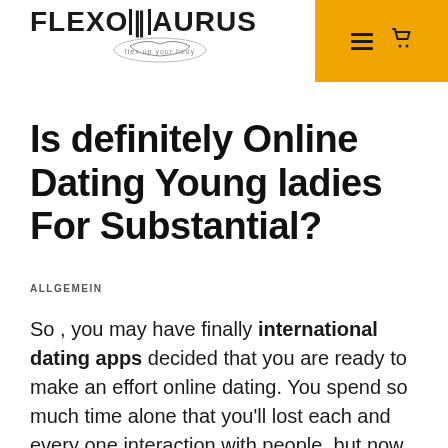FLEXOTAURUS — navigation header with logo and hamburger/cart menu
Is definitely Online Dating Young ladies For Substantial?
ALLGEMEIN
So , you may have finally international dating apps decided that you are ready to make an effort online dating. You spend so much time alone that you'll lost each and every one interaction with people, but now you need to have some fun. What happens if it was much easier to find readily available women online?